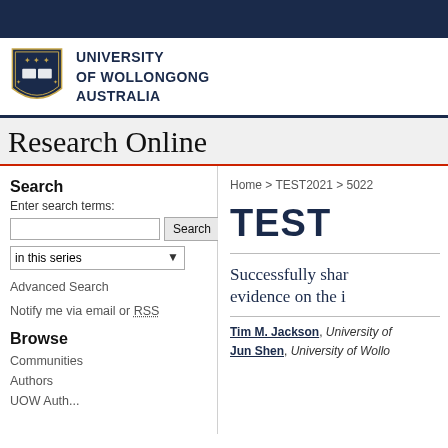University of Wollongong Australia — Research Online
Research Online
Search
Enter search terms:
in this series
Advanced Search
Notify me via email or RSS
Browse
Communities
Authors
Home > TEST2021 > 5022
TEST
Successfully shar evidence on the i
Tim M. Jackson, University of... Jun Shen, University of Wollo...